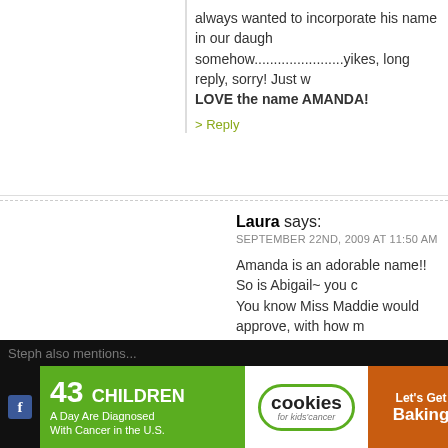always wanted to incorporate his name in our daugh somehow.......................yikes, long reply, sorry! Just w LOVE the name AMANDA!
> Reply
Laura says:
SEPTEMBER 22ND, 2009 AT 11:50 AM
Amanda is an adorable name!! So is Abigail~ you c You know Miss Maddie would approve, with how m Abby Cadabby!!
Love to the Spohr family!!
xoxoxo
> Reply
26. Steph says:
SEPTEMBER 21ST, 2009 AT 4:26 PM
Such exciting news. Congrats.
[Figure (screenshot): Ad banner: '43 CHILDREN A Day Are Diagnosed With Cancer in the U.S.' with cookies for kids' cancer and 'Let's Get Baking' advertisement, with social media icons and close button]